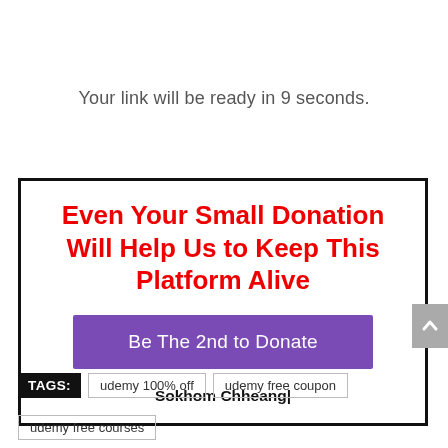Your link will be ready in 9 seconds.
[Figure (other): Donation call-to-action box with red bold heading 'Even Your Small Donation Will Help Us to Keep This Platform Alive', a purple button 'Be The 2nd to Donate', and text 'Sokhom Chheang|']
TAGS: udemy 100% off   udemy free coupon   udemy free courses